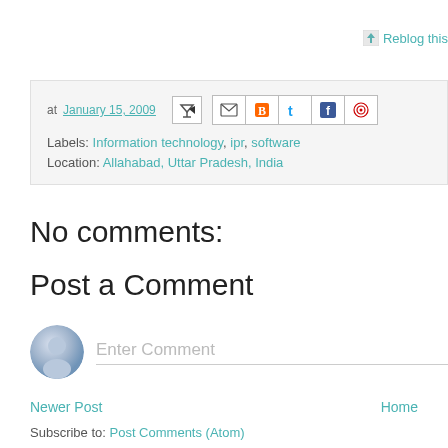[Figure (other): Reblog this button with small icon in top right corner]
at January 15, 2009  Labels: Information technology, ipr, software  Location: Allahabad, Uttar Pradesh, India
No comments:
Post a Comment
Enter Comment
Newer Post   Home
Subscribe to: Post Comments (Atom)
Justice – Not My Job